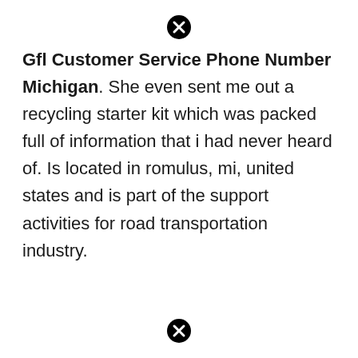[Figure (other): Close/cancel icon (circle with X) at top center]
Gfl Customer Service Phone Number Michigan. She even sent me out a recycling starter kit which was packed full of information that i had never heard of. Is located in romulus, mi, united states and is part of the support activities for road transportation industry.
[Figure (other): Close/cancel icon (circle with X) at bottom center]